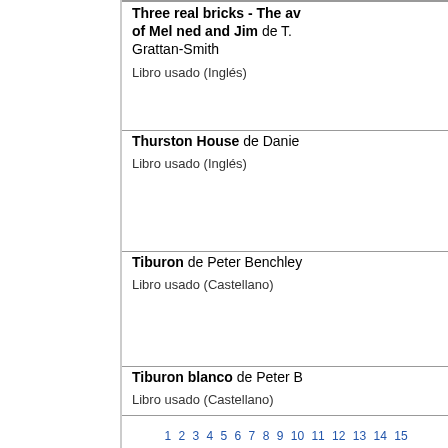7417. Three real bricks - The av of Mel ned and Jim de T. Grattan-Smith. Libro usado (Inglés)
7418. Thurston House de Danie. Libro usado (Inglés)
7419. Tiburon de Peter Benchley. Libro usado (Castellano)
7420. Tiburon blanco de Peter B. Libro usado (Castellano)
1 2 3 4 5 6 7 8 9 10 11 12 13 14 15